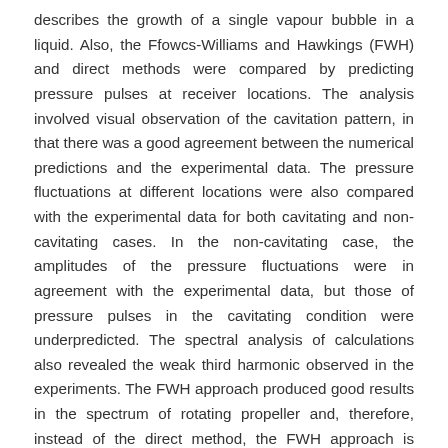describes the growth of a single vapour bubble in a liquid. Also, the Ffowcs-Williams and Hawkings (FWH) and direct methods were compared by predicting pressure pulses at receiver locations. The analysis involved visual observation of the cavitation pattern, in that there was a good agreement between the numerical predictions and the experimental data. The pressure fluctuations at different locations were also compared with the experimental data for both cavitating and non-cavitating cases. In the non-cavitating case, the amplitudes of the pressure fluctuations were in agreement with the experimental data, but those of pressure pulses in the cavitating condition were underpredicted. The spectral analysis of calculations also revealed the weak third harmonic observed in the experiments. The FWH approach produced good results in the spectrum of rotating propeller and, therefore, instead of the direct method, the FWH approach is recommended in such complicated cases as pressure pulse and cavitation. However, a more advanced method is required to extend the work for better representation of bubble dynamics.